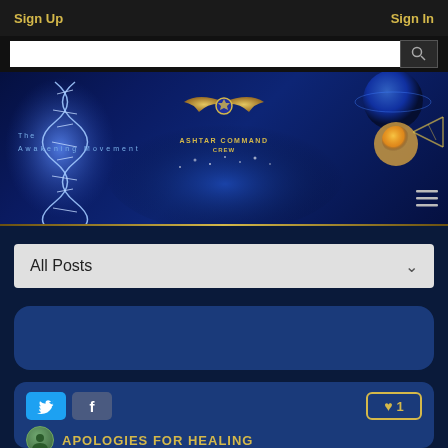Sign Up | Sign In
[Figure (screenshot): Ashtar Command Crew / The Awakening Movement website banner with DNA helix, planet, and hand holding glowing orb on dark blue starfield background]
All Posts
[Figure (screenshot): Empty blue card placeholder]
[Figure (screenshot): Post card with Twitter and Facebook share buttons, heart like button showing 1 like, avatar, and post title beginning APOLOGIES FOR HEALING]